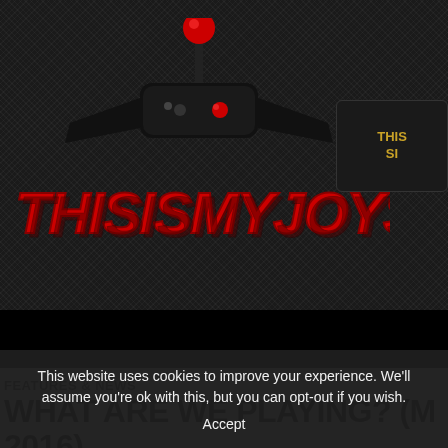[Figure (logo): ThisIsMyJoystick logo — red 3D block letters with a black joystick controller on top, on a dark textured background]
[Figure (other): Small dark box in top right with golden text 'THIS SI' (partially cropped)]
FEATURES & NEWS
WHAT ARE WE PLAYING? (M 2016)
This website uses cookies to improve your experience. We'll assume you're ok with this, but you can opt-out if you wish.
Accept